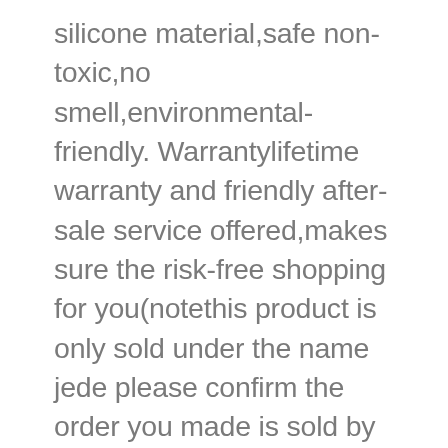silicone material,safe non-toxic,no smell,environmental-friendly. Warrantylifetime warranty and friendly after-sale service offered,makes sure the risk-free shopping for you(notethis product is only sold under the name jede please confirm the order you made is sold by jede before add to cart to prevent buying counterfeit products →). Multi-usecan be used to support a hot lid on to your kitchen side or table,working as personal phone stand & recipe holder is also available. Lovely kitchen assistantsimply pop under a saucepan lid to help prevent pans boiling over,lovely and unique shape bring fun into the kitchen and enjoy your cooking time. Easy to usejust pop a couple of the kitchen villains under the lid of your pan,and these little helpers ensure that the saucepan lid stays at the optimum position to allow simmering to continue at the correct level for slow cooking.